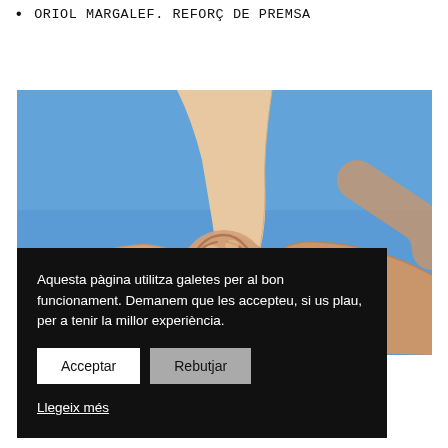ORIOL MARGALEF. REFORÇ DE PREMSA
[Figure (photo): Photograph of multiple hands clasped together against a bright blue background, symbolizing teamwork or solidarity.]
Aquesta pàgina utilitza galetes per al bon funcionament. Demanem que les accepteu, si us plau, per a tenir la millor experiència.
Acceptar | Rebutjar
Llegeix més